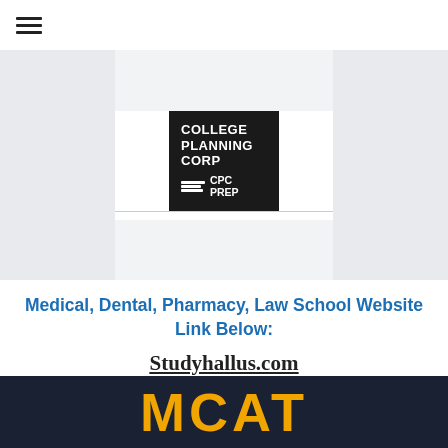[Figure (logo): College Planning Corp CPC Prep logo — black square with white bold text 'COLLEGE PLANNING CORP' and stacked books icon with 'CPC PREP']
Medical, Dental, Pharmacy, Law School Website Link Below:
Studyhallus.com
[Figure (other): Dark navy banner with large gold/yellow bold text 'MCAT']